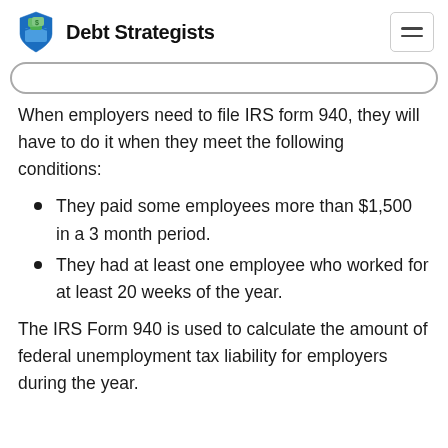Debt Strategists
When employers need to file IRS form 940, they will have to do it when they meet the following conditions:
They paid some employees more than $1,500 in a 3 month period.
They had at least one employee who worked for at least 20 weeks of the year.
The IRS Form 940 is used to calculate the amount of federal unemployment tax liability for employers during the year.